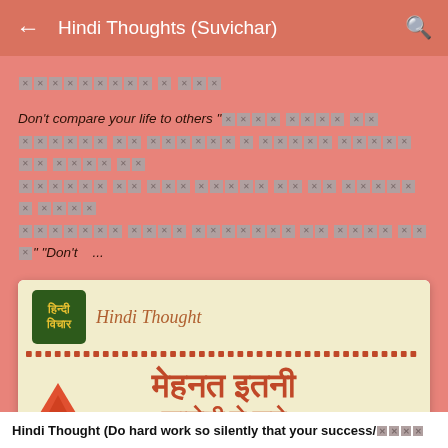Hindi Thoughts (Suvichar)
🟥🟥🟥🟥🟥🟥🟥🟥 🟥 🟥🟥🟥
Don't compare your life to others "[broken Hindi text]" "Don't ...
[Figure (screenshot): Card showing Hindi Thought with logo, dotted separator, and Hindi text मेहनत इतनी starting to show with decorative triangle]
Hindi Thought (Do hard work so silently that your success/🟥🟥🟥🟥